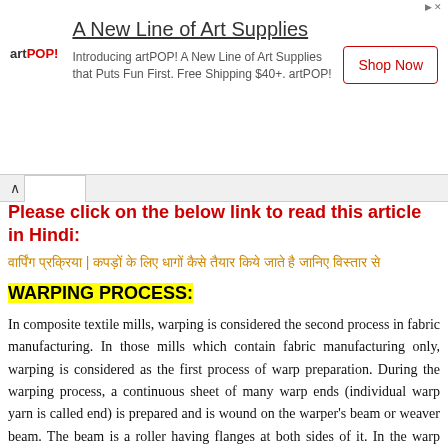[Figure (other): Advertisement banner for artPOP! art supplies with logo, headline 'A New Line of Art Supplies', body text, and 'Shop Now' button]
Please click on the below link to read this article in Hindi:
वार्पिंग प्रक्रिया | कपड़ों के लिए धागों कैसे तैयार किये जाते है जानिए विस्तार से
WARPING PROCESS:
In composite textile mills, warping is considered the second process in fabric manufacturing. In those mills which contain fabric manufacturing only, warping is considered as the first process of warp preparation. During the warping process, a continuous sheet of many warp ends (individual warp yarn is called end) is prepared and is wound on the warper's beam or weaver beam. The beam is a roller having flanges at both sides of it. In the warp sheet, all the ends are parallel and equally spaced to one another. Cones, cheeses or spools